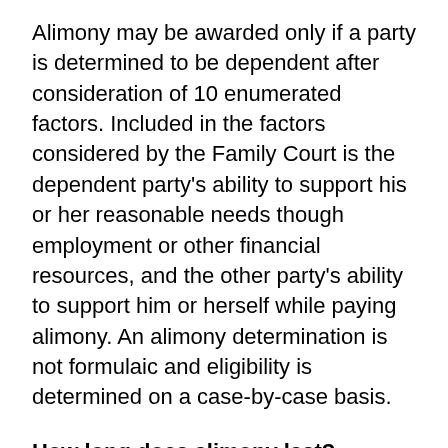Alimony may be awarded only if a party is determined to be dependent after consideration of 10 enumerated factors. Included in the factors considered by the Family Court is the dependent party's ability to support his or her reasonable needs though employment or other financial resources, and the other party's ability to support him or herself while paying alimony. An alimony determination is not formulaic and eligibility is determined on a case-by-case basis.
How long does alimony last?
A dependent party may be eligible to receive alimony for a time period up to one half the length of the marriage, unless the marriage lasted 20 years or